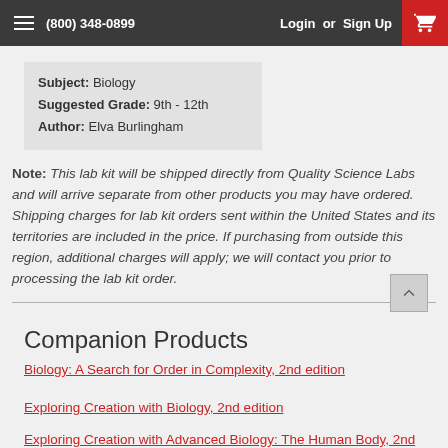(800) 348-0899   Login or Sign Up
Subject: Biology
Suggested Grade: 9th - 12th
Author: Elva Burlingham
Note: This lab kit will be shipped directly from Quality Science Labs and will arrive separate from other products you may have ordered. Shipping charges for lab kit orders sent within the United States and its territories are included in the price. If purchasing from outside this region, additional charges will apply; we will contact you prior to processing the lab kit order.
Companion Products
Biology: A Search for Order in Complexity, 2nd edition
Exploring Creation with Biology, 2nd edition
Exploring Creation with Advanced Biology: The Human Body, 2nd